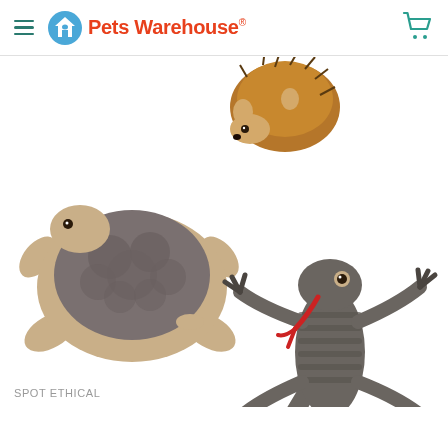Pets Warehouse
[Figure (photo): Three animal-shaped plush dog toys on white background: a turtle with gray fluffy shell and tan limbs, a hedgehog (brown/tan, partially visible at top center), and a lizard/gecko with gray textured body and red tongue.]
SPOT ETHICAL